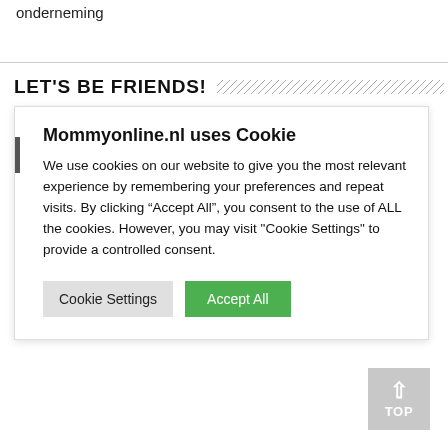onderneming
LET'S BE FRIENDS!
Mommyonline.nl uses Cookie
We use cookies on our website to give you the most relevant experience by remembering your preferences and repeat visits. By clicking “Accept All”, you consent to the use of ALL the cookies. However, you may visit "Cookie Settings" to provide a controlled consent.
Cookie Settings | Accept All